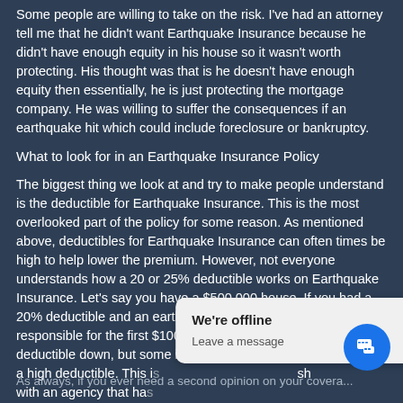Some people are willing to take on the risk. I've had an attorney tell me that he didn't want Earthquake Insurance because he didn't have enough equity in his house so it wasn't worth protecting. His thought was that is he doesn't have enough equity then essentially, he is just protecting the mortgage company. He was willing to suffer the consequences if an earthquake hit which could include foreclosure or bankruptcy.
What to look for in an Earthquake Insurance Policy
The biggest thing we look at and try to make people understand is the deductible for Earthquake Insurance. This is the most overlooked part of the policy for some reason. As mentioned above, deductibles for Earthquake Insurance can often times be high to help lower the premium. However, not everyone understands how a 20 or 25% deductible works on Earthquake Insurance. Let's say you have a $500,000 house. If you had a 20% deductible and an earthquake happened, you would be responsible for the first $100,000. There are ways to get the deductible down, but some insurance companies will only offer a high deductible. This is [partially obscured] she with an agency that has [partially obscured]
As always, if you ever need a second opinion on your coverage...